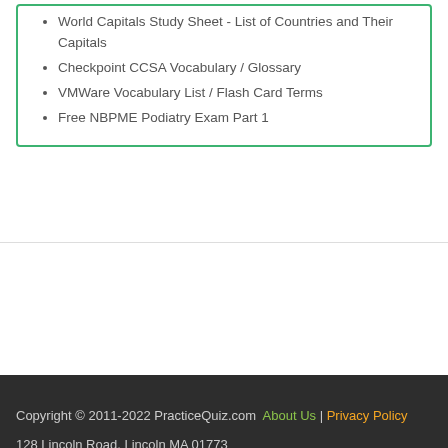World Capitals Study Sheet - List of Countries and Their Capitals
Checkpoint CCSA Vocabulary / Glossary
VMWare Vocabulary List / Flash Card Terms
Free NBPME Podiatry Exam Part 1
Copyright © 2011-2022 PracticeQuiz.com  About Us | Privacy Policy  128 Lincoln Road, Lincoln MA 01773